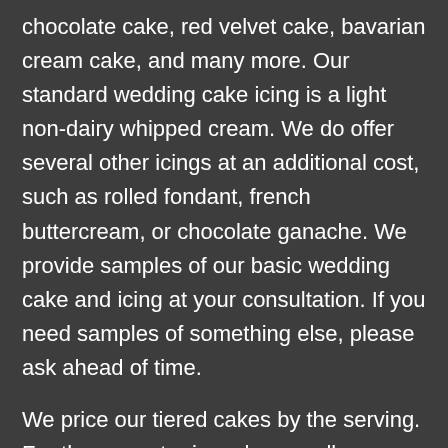chocolate cake, red velvet cake, bavarian cream cake, and many more.  Our standard wedding cake icing is a light non-dairy whipped cream.  We do offer several other icings at an additional cost, such as rolled fondant, french buttercream, or chocolate ganache. We provide samples of our basic wedding cake and icing at your consultation.  If you need samples of something else, please ask ahead of time.
We price our tiered cakes by the serving.  For the current price, please call us or schedule an appointment with our wedding consultant.   Prices are subject to change until you have made a deposit for your cake. Prices are based on cakes that are